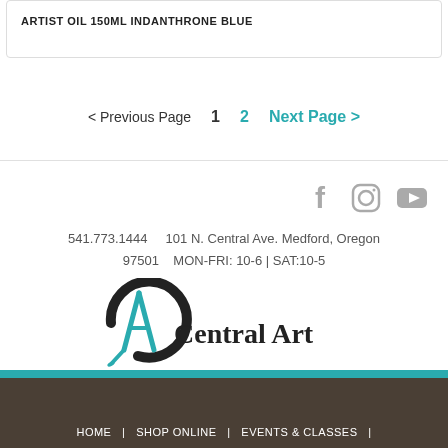ARTIST OIL 150ML INDANTHRONE BLUE
< Previous Page   1   2   Next Page >
[Figure (logo): Central Art store logo with teal brush icon and bold text 'CENTRAL ART']
541.773.1444   101 N. Central Ave. Medford, Oregon 97501   MON-FRI: 10-6 | SAT:10-5
HOME  |  SHOP ONLINE  |  EVENTS & CLASSES  |